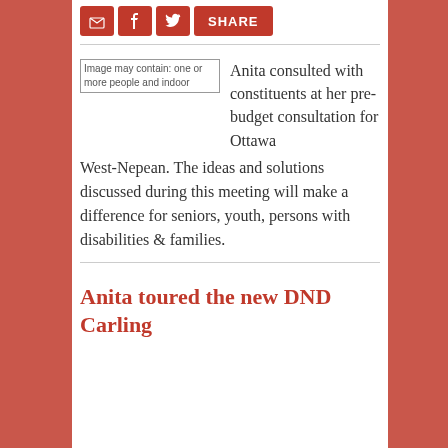[Figure (other): Share bar with email, Facebook, Twitter icons and SHARE button in red]
[Figure (photo): Image placeholder: Image may contain: one or more people and indoor]
Anita consulted with constituents at her pre-budget consultation for Ottawa West-Nepean. The ideas and solutions discussed during this meeting will make a difference for seniors, youth, persons with disabilities & families.
Anita toured the new DND Carling